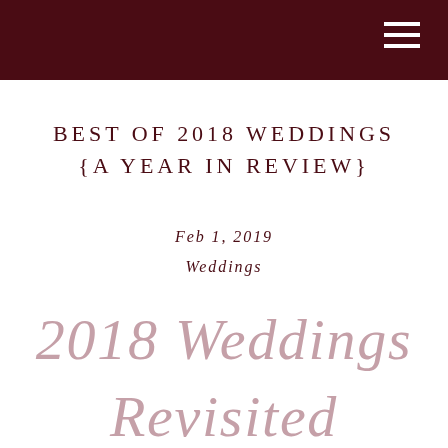BEST OF 2018 WEDDINGS {A YEAR IN REVIEW}
Feb 1, 2019
Weddings
2018 Weddings
Revisited